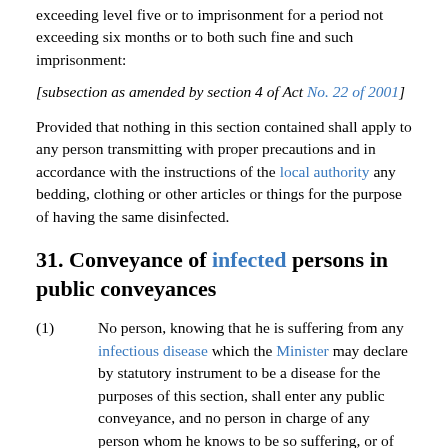exceeding level five or to imprisonment for a period not exceeding six months or to both such fine and such imprisonment:
[subsection as amended by section 4 of Act No. 22 of 2001]
Provided that nothing in this section contained shall apply to any person transmitting with proper precautions and in accordance with the instructions of the local authority any bedding, clothing or other articles or things for the purpose of having the same disinfected.
31. Conveyance of infected persons in public conveyances
(1)   No person, knowing that he is suffering from any infectious disease which the Minister may declare by statutory instrument to be a disease for the purposes of this section, shall enter any public conveyance, and no person in charge of any person whom he knows to be so suffering, or of the body of any person who to his knowledge has died of any such disease, or in charge of anything which to his knowledge has